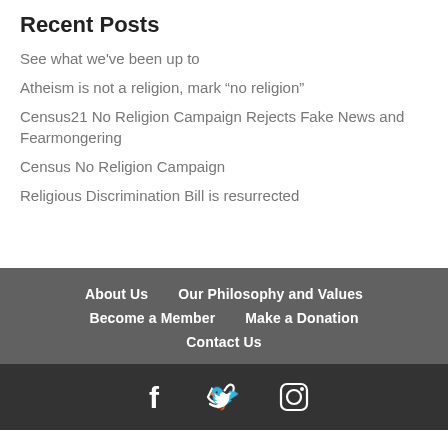Recent Posts
See what we've been up to
Atheism is not a religion, mark “no religion”
Census21 No Religion Campaign Rejects Fake News and Fearmongering
Census No Religion Campaign
Religious Discrimination Bill is resurrected
About Us  Our Philosophy and Values  Become a Member  Make a Donation  Contact Us
[Figure (infographic): Social media icons: Facebook, Twitter, Instagram]